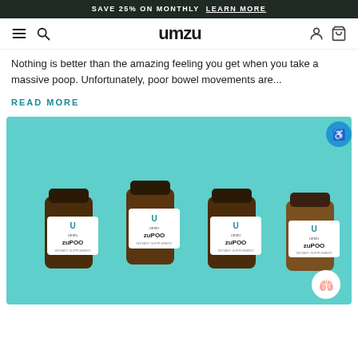SAVE 25% ON MONTHLY  LEARN MORE
[Figure (logo): UMZU brand logo with hamburger menu icon, search icon, user icon, and cart icon in navigation bar]
Nothing is better than the amazing feeling you get when you take a massive poop. Unfortunately, poor bowel movements are...
READ MORE
[Figure (photo): Four amber glass supplement bottles of UMZU zuPOO dietary supplement on a teal/mint background, with an accessibility button in the top right and a gut/stomach icon button in the bottom right]